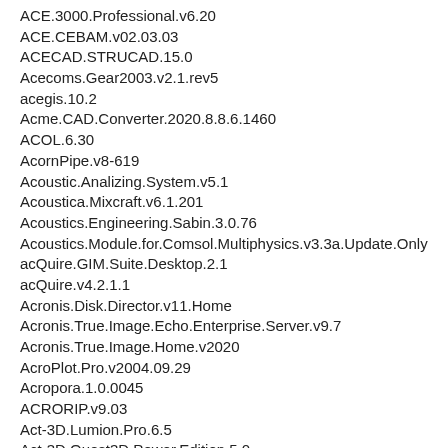ACE.3000.Professional.v6.20
ACE.CEBAM.v02.03.03
ACECAD.STRUCAD.15.0
Acecoms.Gear2003.v2.1.rev5
acegis.10.2
Acme.CAD.Converter.2020.8.8.6.1460
ACOL.6.30
AcornPipe.v8-619
Acoustic.Analizing.System.v5.1
Acoustica.Mixcraft.v6.1.201
Acoustics.Engineering.Sabin.3.0.76
Acoustics.Module.for.Comsol.Multiphysics.v3.3a.Update.Only
acQuire.GIM.Suite.Desktop.2.1
acQuire.v4.2.1.1
Acronis.Disk.Director.v11.Home
Acronis.True.Image.Echo.Enterprise.Server.v9.7
Acronis.True.Image.Home.v2020
AcroPlot.Pro.v2004.09.29
Acropora.1.0.0045
ACRORIP.v9.03
Act-3D.Lumion.Pro.6.5
Act-3D.Quest3D.Power.Edition.5.0
Act3d.Quest3D.v2.5a